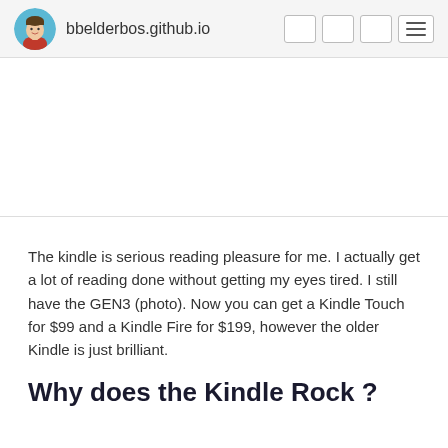bbelderbos.github.io
The kindle is serious reading pleasure for me. I actually get a lot of reading done without getting my eyes tired. I still have the GEN3 (photo). Now you can get a Kindle Touch for $99 and a Kindle Fire for $199, however the older Kindle is just brilliant.
Why does the Kindle Rock ?